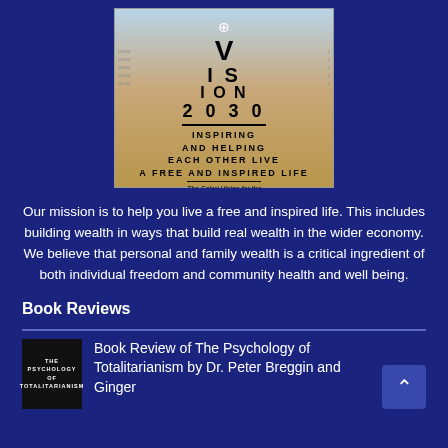[Figure (illustration): Book cover for Vision 2030 by Solari, styled as an eye chart with large V, IS, ION, 2030 text, subtitle 'Inspiring and Helping Each Other Live a Free and Inspired Life', tagline 'The Solari Vision for the Year 2030']
Our mission is to help you live a free and inspired life. This includes building wealth in ways that build real wealth in the wider economy. We believe that personal and family wealth is a critical ingredient of both individual freedom and community health and well being.
Book Reviews
[Figure (photo): Thumbnail of book cover for 'The Psychology of Totalitarianism' in black]
Book Review of The Psychology of Totalitarianism by Dr. Peter Breggin and Ginger